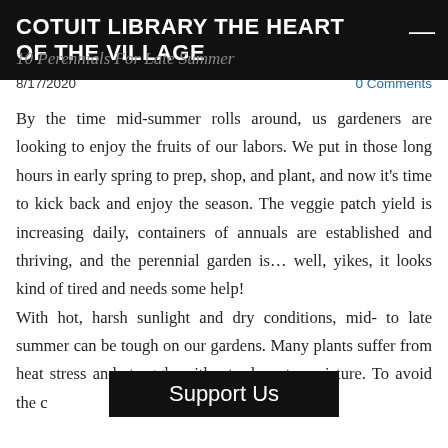COTUIT LIBRARY THE HEART OF THE VILLAGE
10 Perennials For Late Summer
8/17/2020
0 Comments
By the time mid-summer rolls around, us gardeners are looking to enjoy the fruits of our labors. We put in those long hours in early spring to prep, shop, and plant, and now it's time to kick back and enjoy the season. The veggie patch yield is increasing daily, containers of annuals are established and thriving, and the perennial garden is… well, yikes, it looks kind of tired and needs some help!
With hot, harsh sunlight and dry conditions, mid- to late summer can be tough on our gardens. Many plants suffer from heat stress and struggle without adequate moisture. To avoid the colorless doldrums,
Support Us